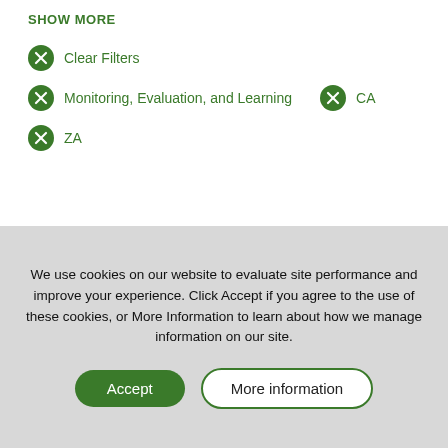SHOW MORE
Clear Filters
Monitoring, Evaluation, and Learning | CA
ZA
We use cookies on our website to evaluate site performance and improve your experience. Click Accept if you agree to the use of these cookies, or More Information to learn about how we manage information on our site.
Accept | More information